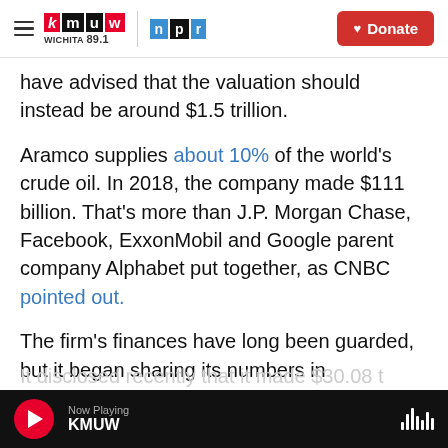KMUW Wichita 89.1 | NPR | Donate
have advised that the valuation should instead be around $1.5 trillion.
Aramco supplies about 10% of the world's crude oil. In 2018, the company made $111 billion. That's more than J.P. Morgan Chase, Facebook, ExxonMobil and Google parent company Alphabet put together, as CNBC pointed out.
The firm's finances have long been guarded, but it began sharing its numbers in preparations for the IPO.
Now Playing KMUW